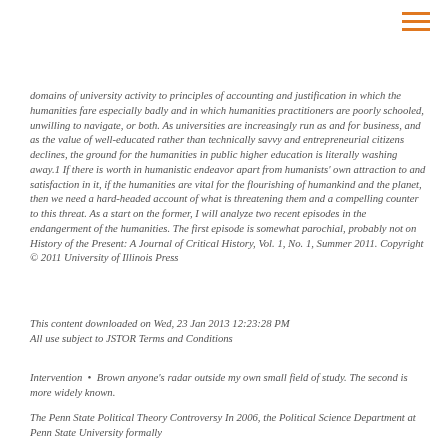[Figure (other): Hamburger menu icon (three horizontal orange lines) in top right corner]
domains of university activity to principles of accounting and justification in which the humanities fare especially badly and in which humanities practitioners are poorly schooled, unwilling to navigate, or both. As universities are increasingly run as and for business, and as the value of well-educated rather than technically savvy and entrepreneurial citizens declines, the ground for the humanities in public higher education is literally washing away.1 If there is worth in humanistic endeavor apart from humanists' own attraction to and satisfaction in it, if the humanities are vital for the flourishing of humankind and the planet, then we need a hard-headed account of what is threatening them and a compelling counter to this threat. As a start on the former, I will analyze two recent episodes in the endangerment of the humanities. The first episode is somewhat parochial, probably not on History of the Present: A Journal of Critical History, Vol. 1, No. 1, Summer 2011. Copyright © 2011 University of Illinois Press
This content downloaded on Wed, 23 Jan 2013 12:23:28 PM All use subject to JSTOR Terms and Conditions
Intervention  •  Brown anyone's radar outside my own small field of study. The second is more widely known.
The Penn State Political Theory Controversy In 2006, the Political Science Department at Penn State University formally